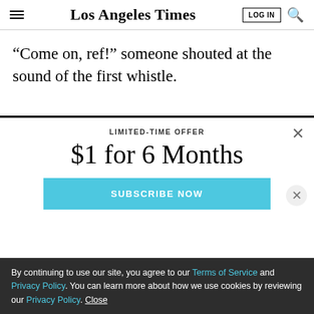Los Angeles Times
“Come on, ref!” someone shouted at the sound of the first whistle.
LIMITED-TIME OFFER
$1 for 6 Months
SUBSCRIBE NOW
By continuing to use our site, you agree to our Terms of Service and Privacy Policy. You can learn more about how we use cookies by reviewing our Privacy Policy. Close